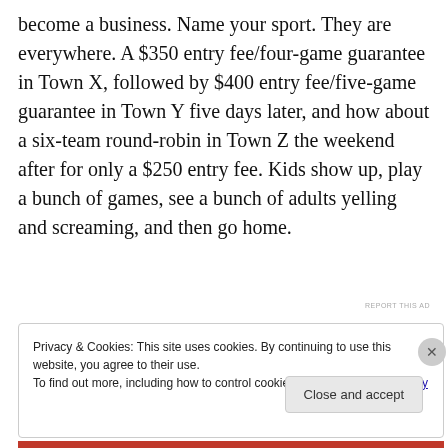become a business. Name your sport. They are everywhere. A $350 entry fee/four-game guarantee in Town X, followed by $400 entry fee/five-game guarantee in Town Y five days later, and how about a six-team round-robin in Town Z the weekend after for only a $250 entry fee. Kids show up, play a bunch of games, see a bunch of adults yelling and screaming, and then go home.
[Figure (other): Jetpack advertisement banner with green background showing Jetpack logo and 'Back up your site' text]
REPORT THIS AD
Privacy & Cookies: This site uses cookies. By continuing to use this website, you agree to their use.
To find out more, including how to control cookies, see here: Cookie Policy
Close and accept